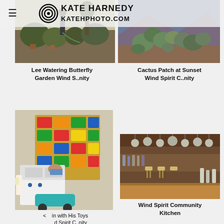KATE HARNEDY KATEHPHOTO.COM
[Figure (photo): Person watering a butterfly garden with plants and pots in a desert yard]
[Figure (photo): Cactus patch at sunset with mountains in background]
Lee Watering Butterfly Garden Wind S..nity
Cactus Patch at Sunset Wind Spirit C..nity
[Figure (photo): Child playing with colorful toy kitchen set and riding toy]
[Figure (photo): Wind Spirit Community Kitchen interior with bar and hanging pots]
in with His Toys d Spirit C..nity
Wind Spirit Community Kitchen